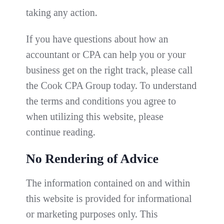taking any action.
If you have questions about how an accountant or CPA can help you or your business get on the right track, please call the Cook CPA Group today. To understand the terms and conditions you agree to when utilizing this website, please continue reading.
No Rendering of Advice
The information contained on and within this website is provided for informational or marketing purposes only. This information cannot and is not intended to substitute for obtaining personalized accounting, tax, or financial advice from a professional accountant.